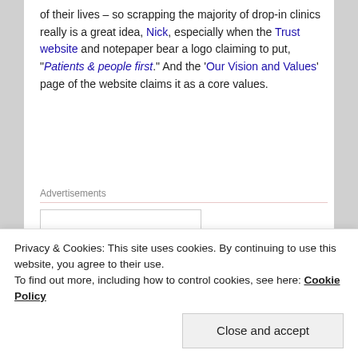of their lives – so scrapping the majority of drop-in clinics really is a great idea, Nick, especially when the Trust website and notepaper bear a logo claiming to put, "Patients & people first." And the 'Our Vision and Values' page of the website claims it as a core values.
Advertisements
[Figure (photo): Fan of British pound banknotes fanned out in a circular arrangement]
Privacy & Cookies: This site uses cookies. By continuing to use this website, you agree to their use. To find out more, including how to control cookies, see here: Cookie Policy